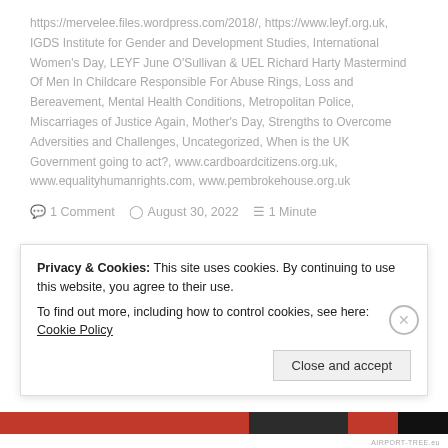https://mervelee.files.wordpress.com/2018/, https://www.leyf.org.uk, IGDS Institute for Gender and Development Studies, International Women's Day, LEYF June O'Sullivan & UEL Richard Harty Mastermind Of Men In Childcare Responsible For Abuse Rings, Loss and Bereavement, Mental Health Conditions, Metropolitan Police, Miscarriages of Justice Again, Mother's Day, Strengths to Overcome Adversities and Challenges, Uncategorized, When is the UK Government going to act?, www.cardboardcitizens.org.uk, www.equalityhumanrights.com, www.pembrokehouse.org.uk
1 Comment  August 30, 2022  1 Minute
Privacy & Cookies: This site uses cookies. By continuing to use this website, you agree to their use. To find out more, including how to control cookies, see here: Cookie Policy
Close and accept